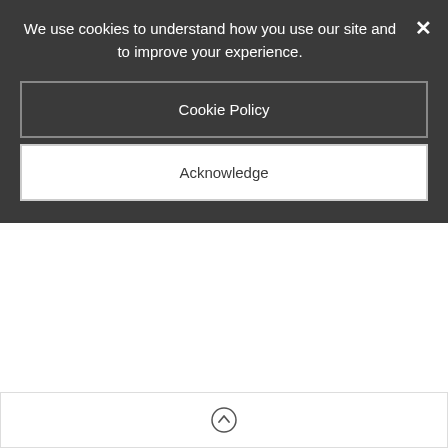We use cookies to understand how you use our site and to improve your experience.
Cookie Policy
×
Acknowledge
Food Service Worker (Part Time) - Donelson Christian Academy - Nashville, TN
Nashville, TN, USA
Utility Worker (Full-Time) - Northpoint Christian School - Southaven, MS
Southaven, MS, USA
Search
[Figure (other): Back to top button with upward arrow circle icon]